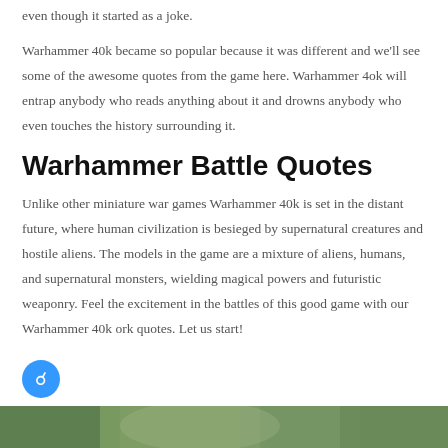even though it started as a joke.
Warhammer 40k became so popular because it was different and we'll see some of the awesome quotes from the game here. Warhammer 4ok will entrap anybody who reads anything about it and drowns anybody who even touches the history surrounding it.
Warhammer Battle Quotes
Unlike other miniature war games Warhammer 40k is set in the distant future, where human civilization is besieged by supernatural creatures and hostile aliens. The models in the game are a mixture of aliens, humans, and supernatural monsters, wielding magical powers and futuristic weaponry. Feel the excitement in the battles of this good game with our Warhammer 40k ork quotes. Let us start!
[Figure (photo): Bottom strip showing a blurred photo, appears to be green/nature themed miniature game scene]